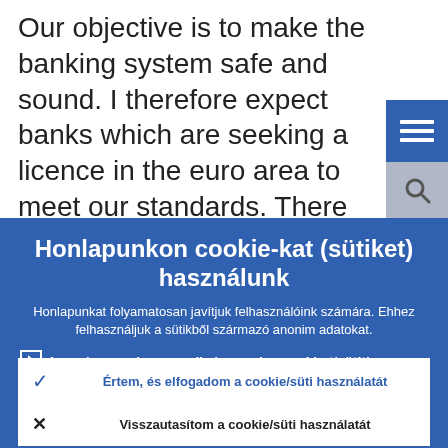Our objective is to make the banking system safe and sound. I therefore expect banks which are seeking a licence in the euro area to meet our standards. There wi[ll]
[Figure (screenshot): Blue hamburger menu button in top right corner]
[Figure (screenshot): Search icon button below hamburger menu]
Honlapunkon cookie-kat (sütiket) használunk
Honlapunkat folyamatosan javítjuk felhasználóink számára. Ehhez felhasználjuk a sütikből származó anonim adatokat.
Ismerje meg, hogyan alkalmazzuk a cookie-t/sütit!
Értem, és elfogadom a cookie/süti használatát
Visszautasítom a cookie/süti használatát